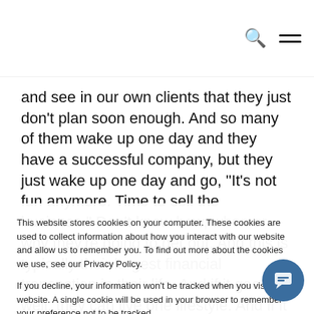and see in our own clients that they just don't plan soon enough. And so many of them wake up one day and they have a successful company, but they just wake up one day and go, "It's not fun anymore. Time to sell the business." Don't know how, when or why they're going to get out. And this is typically their largest financial transaction in their life. And if it goes well, they can live one lifestyle. And if it doesn't
This website stores cookies on your computer. These cookies are used to collect information about how you interact with our website and allow us to remember you. To find out more about the cookies we use, see our Privacy Policy.

If you decline, your information won't be tracked when you visit this website. A single cookie will be used in your browser to remember your preference not to be tracked.